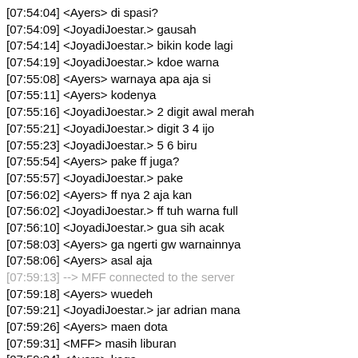[07:54:04] <Ayers> di spasi?
[07:54:09] <JoyadiJoestar.> gausah
[07:54:14] <JoyadiJoestar.> bikin kode lagi
[07:54:19] <JoyadiJoestar.> kdoe warna
[07:55:08] <Ayers> warnaya apa aja si
[07:55:11] <Ayers> kodenya
[07:55:16] <JoyadiJoestar.> 2 digit awal merah
[07:55:21] <JoyadiJoestar.> digit 3 4 ijo
[07:55:23] <JoyadiJoestar.> 5 6 biru
[07:55:54] <Ayers> pake ff juga?
[07:55:57] <JoyadiJoestar.> pake
[07:56:02] <Ayers> ff nya 2 aja kan
[07:56:02] <JoyadiJoestar.> ff tuh warna full
[07:56:10] <JoyadiJoestar.> gua sih acak
[07:58:03] <Ayers> ga ngerti gw warnainnya
[07:58:06] <Ayers> asal aja
[07:59:13] --> MFF connected to the server
[07:59:18] <Ayers> wuedeh
[07:59:21] <JoyadiJoestar.> jar adrian mana
[07:59:26] <Ayers> maen dota
[07:59:31] <MFF> masih liburan
[07:59:34] <Ayers> kaga
[07:59:39] <Ayers> ya
[08:02:11] <Kirito.> oh what
[08:02:11] <Ayers> hadeh bang bang